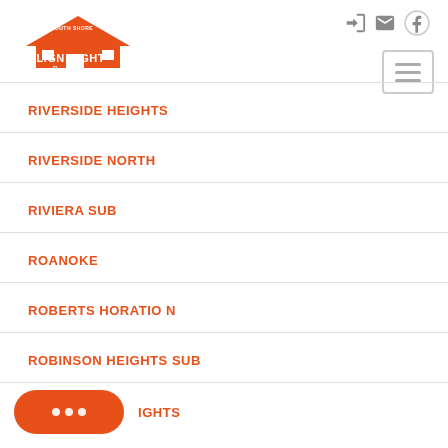South Shore Align Right Realty
RIVERSIDE HEIGHTS
RIVERSIDE NORTH
RIVIERA SUB
ROANOKE
ROBERTS HORATIO N
ROBINSON HEIGHTS SUB
…IGHTS